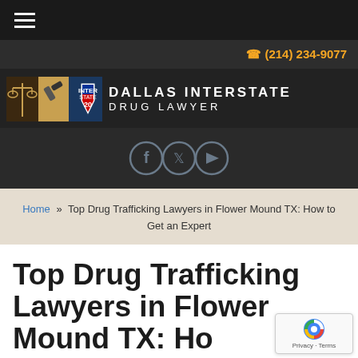☰ (hamburger menu)
☎ (214) 234-9077
[Figure (logo): Dallas Interstate Drug Lawyer logo with scales of justice icon, Interstate 20 shield icon, and bold uppercase text 'DALLAS INTERSTATE DRUG LAWYER']
[Figure (illustration): Social media icons: Facebook, Twitter, YouTube — circular outlined icons in gray on dark background]
Home » Top Drug Trafficking Lawyers in Flower Mound TX: How to Get an Expert
Top Drug Trafficking Lawyers in Flower Mound TX: How to Get an Expert